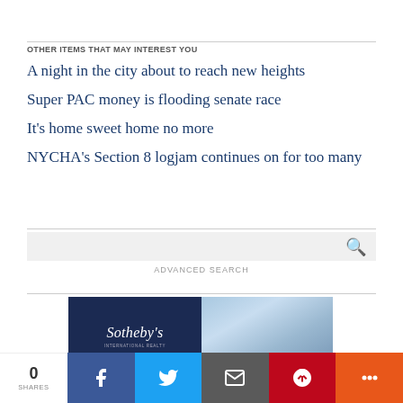OTHER ITEMS THAT MAY INTEREST YOU
A night in the city about to reach new heights
Super PAC money is flooding senate race
It's home sweet home no more
NYCHA's Section 8 logjam continues on for too many
[Figure (screenshot): Search box with magnifying glass icon and ADVANCED SEARCH label below]
[Figure (photo): Sotheby's International Realty advertisement banner with dark navy left panel and sky blue right panel]
0 SHARES | Facebook | Twitter | Email | Pinterest | More